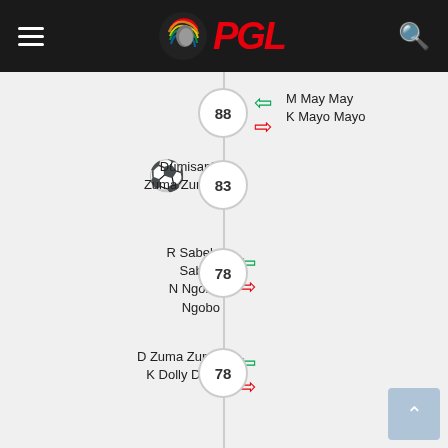PSL
88 | M May May / K Mayo Mayo
83 | Dumisani Zuma Zuma (goal)
78 | R Sabelo Sabelo (off) / N Ngobo Ngobo (on)
78 | D Zuma Zuma (off) / K Dolly Dolly (on)
71 | T Nodada Nodada (off) / M Mdantsane Mdantsane (on)
71 | T Morris Morris / C Martin Martin